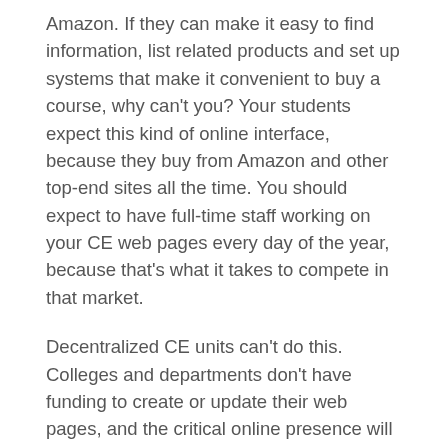Amazon. If they can make it easy to find information, list related products and set up systems that make it convenient to buy a course, why can't you? Your students expect this kind of online interface, because they buy from Amazon and other top-end sites all the time. You should expect to have full-time staff working on your CE web pages every day of the year, because that's what it takes to compete in that market.
Decentralized CE units can't do this. Colleges and departments don't have funding to create or update their web pages, and the critical online presence will have constant problems with inconsistent interfaces, bad links and information that's outdated.
Do Coke or General Motors have different websites for each soft drink or each car